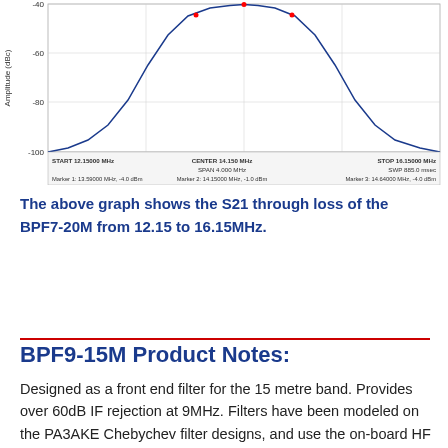[Figure (continuous-plot): S21 through loss graph for BPF7-20M from 12.15 to 16.15MHz. Y-axis shows Amplitude (dBc) from -100 to -40. X-axis frequency range. Markers: START 12.15000 MHz, CENTER 14.150 MHz, STOP 16.15000 MHz, SPAN 4.000 MHz, SWP 885.0 msec. Marker 1: 13.59000 MHz, -4.0 dBm; Marker 2: 14.15000 MHz, -1.0 dBm; Marker 3: 14.64000 MHz, -4.0 dBm.]
The above graph shows the S21 through loss of the BPF7-20M from 12.15 to 16.15MHz.
BPF9-15M Product Notes:
Designed as a front end filter for the 15 metre band. Provides over 60dB IF rejection at 9MHz. Filters have been modeled on the PA3AKE Chebychev filter designs, and use the on-board HF port to make the housings...